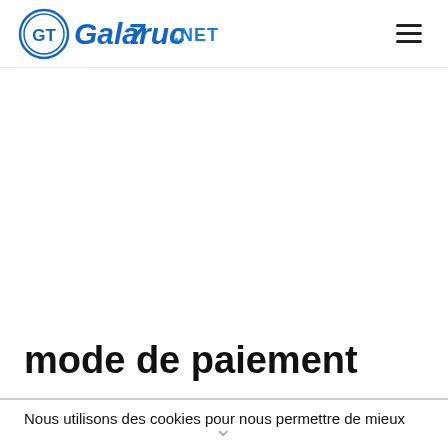GalaTruc.NET [logo] [hamburger menu]
mode de paiement
Nous utilisons des cookies pour nous permettre de mieux